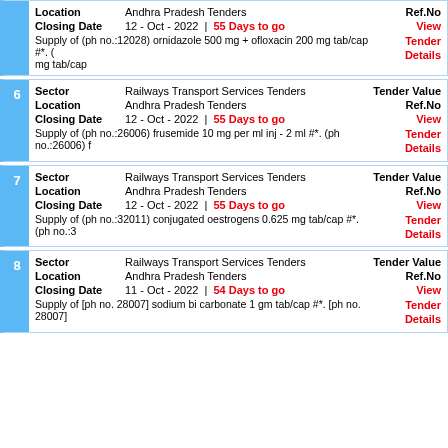Location: Andhra Pradesh Tenders | Ref.No | Closing Date: 12 - Oct - 2022 | 55 Days to go | View Tender Details | Supply of (ph no.:12028) ornidazole 500 mg + ofloxacin 200 mg tab/cap #*. ( mg tab/cap
6 | Sector: Railways Transport Services Tenders | Tender Value | Location: Andhra Pradesh Tenders | Ref.No | Closing Date: 12 - Oct - 2022 | 55 Days to go | View Tender Details | Supply of (ph no.:26006) frusemide 10 mg per ml inj - 2 ml #*. (ph no.:26006) f
7 | Sector: Railways Transport Services Tenders | Tender Value | Location: Andhra Pradesh Tenders | Ref.No | Closing Date: 12 - Oct - 2022 | 55 Days to go | View Tender Details | Supply of (ph no.:32011) conjugated oestrogens 0.625 mg tab/cap #*. (ph no.:3
8 | Sector: Railways Transport Services Tenders | Tender Value | Location: Andhra Pradesh Tenders | Ref.No | Closing Date: 11 - Oct - 2022 | 54 Days to go | View Tender Details | Supply of [ph no. 28007] sodium bi carbonate 1 gm tab/cap #*. [ph no. 28007]